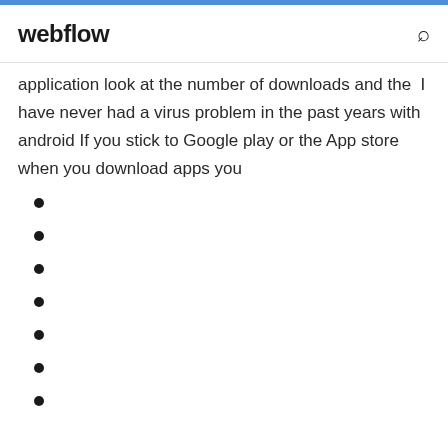webflow
application look at the number of downloads and the  I have never had a virus problem in the past years with android If you stick to Google play or the App store when you download apps you